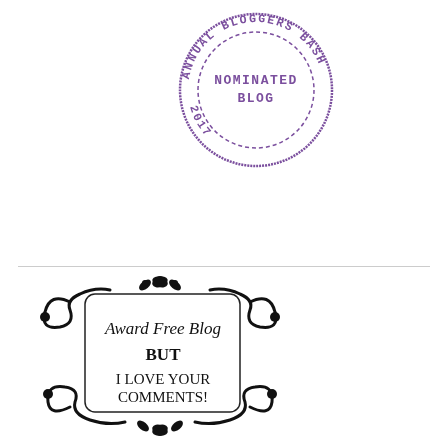[Figure (illustration): Circular rubber stamp style badge in purple reading 'ANNUAL BLOGGERS BASH' around the outside and 'NOMINATED BLOG 2017' in the center, with dashed inner circle border.]
[Figure (illustration): Decorative black floral/scroll ornament frame with a rounded rectangle in the center containing the text: 'Award Free Blog BUT I LOVE YOUR COMMENTS!']